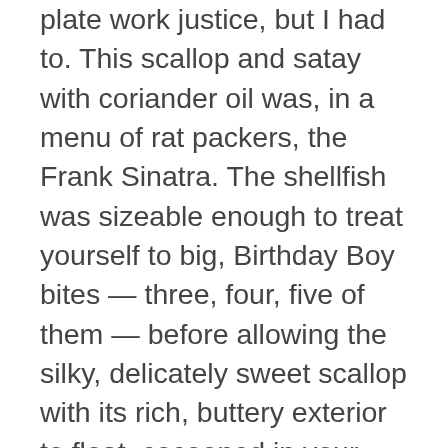plate work justice, but I had to. This scallop and satay with coriander oil was, in a menu of rat packers, the Frank Sinatra. The shellfish was sizeable enough to treat yourself to big, Birthday Boy bites — three, four, five of them — before allowing the silky, delicately sweet scallop with its rich, buttery exterior to float, cocooned in your cheeks inside that satin satay sauce, then glugging it back with a bottle of Alex's outrageous Kallstadter Riesling, 2020 (£48). A coddled, creamy Burford brown — the king of eggs — comes with pea lettuce and hollandaise, a joy to burst and tumble across your fork, and then your tongue. It upstages a perfectly poached Atlantic cod, its parmesany crust too potent for my palette — maybe when I'm 43 I'll like cheese with fish. But no matter, the poached and smoked guinea